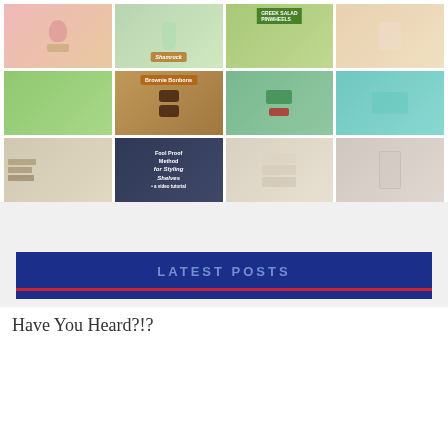[Figure (photo): 4x3 grid of food, craft, and home decor photos including: strawberry smoothie, shamrock shake, Greek salad pinwheels, honey dessert, craft supplies shelf, brownie bonbons, Christmas stocking, green slime, shelf styling guide, fool proof shelf styling tutorial, white bookshelf, milk pouring photo]
LATEST POSTS
Have You Heard?!?